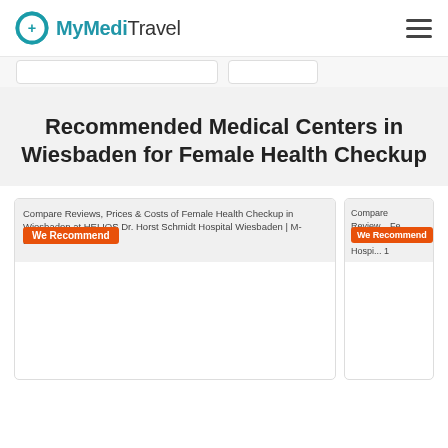MyMediTravel
Recommended Medical Centers in Wiesbaden for Female Health Checkup
[Figure (screenshot): Card for HELIOS Dr. Horst Schmidt Hospital Wiesbaden with We Recommend badge, M-DE11-2]
[Figure (screenshot): Card for HELIOS DKD Hospital with We Recommend badge, entry 1]